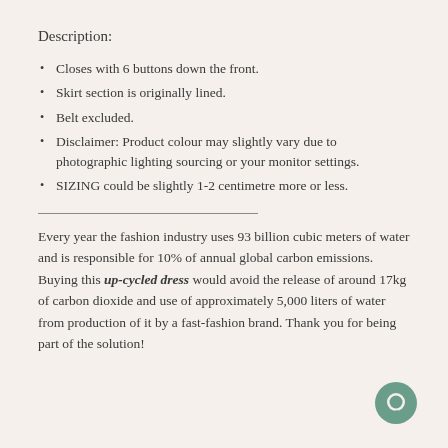Description:
Closes with 6 buttons down the front.
Skirt section is originally lined.
Belt excluded.
Disclaimer: Product colour may slightly vary due to photographic lighting sourcing or your monitor settings.
SIZING could be slightly 1-2 centimetre more or less.
Every year the fashion industry uses 93 billion cubic meters of water and is responsible for 10% of annual global carbon emissions. Buying this up-cycled dress would avoid the release of around 17kg of carbon dioxide and use of approximately 5,000 liters of water from production of it by a fast-fashion brand. Thank you for being part of the solution!
[Figure (illustration): Green circular chat bubble icon in bottom right corner]